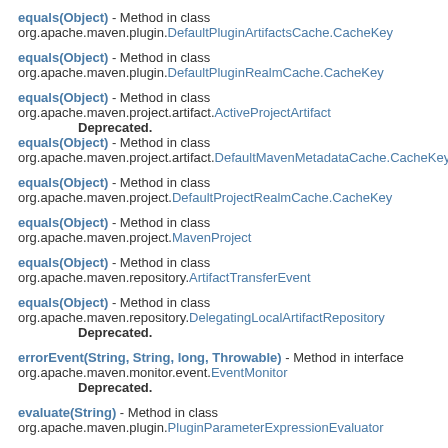equals(Object) - Method in class org.apache.maven.plugin.DefaultPluginArtifactsCache.CacheKey
equals(Object) - Method in class org.apache.maven.plugin.DefaultPluginRealmCache.CacheKey
equals(Object) - Method in class org.apache.maven.project.artifact.ActiveProjectArtifact
Deprecated.
equals(Object) - Method in class org.apache.maven.project.artifact.DefaultMavenMetadataCache.CacheKey
equals(Object) - Method in class org.apache.maven.project.DefaultProjectRealmCache.CacheKey
equals(Object) - Method in class org.apache.maven.project.MavenProject
equals(Object) - Method in class org.apache.maven.repository.ArtifactTransferEvent
equals(Object) - Method in class org.apache.maven.repository.DelegatingLocalArtifactRepository
Deprecated.
errorEvent(String, String, long, Throwable) - Method in interface org.apache.maven.monitor.event.EventMonitor
Deprecated.
evaluate(String) - Method in class org.apache.maven.plugin.PluginParameterExpressionEvaluator